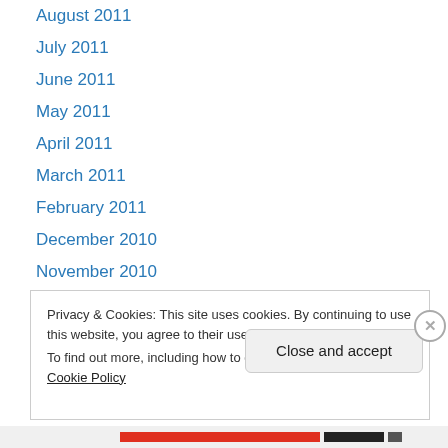August 2011
July 2011
June 2011
May 2011
April 2011
March 2011
February 2011
December 2010
November 2010
October 2010
September 2010
August 2010
July 2010
Privacy & Cookies: This site uses cookies. By continuing to use this website, you agree to their use. To find out more, including how to control cookies, see here: Cookie Policy
Close and accept